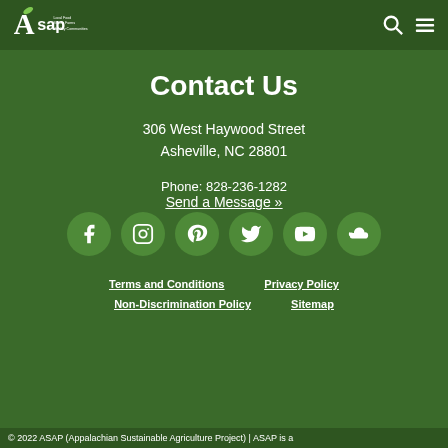ASAP — Local Food, Strong Farms, Healthy Communities
Contact Us
306 West Haywood Street
Asheville, NC 28801
Phone: 828-236-1282
Send a Message »
[Figure (infographic): Row of 6 social media icon circles: Facebook, Instagram, Pinterest, Twitter, YouTube, SoundCloud]
Terms and Conditions
Privacy Policy
Non-Discrimination Policy
Sitemap
© 2022 ASAP (Appalachian Sustainable Agriculture Project) | ASAP is a